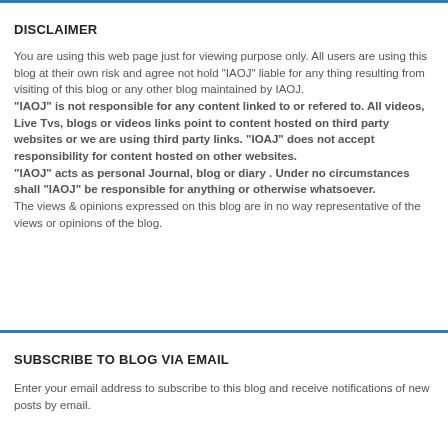DISCLAIMER
You are using this web page just for viewing purpose only. All users are using this blog at their own risk and agree not hold "IAOJ" liable for any thing resulting from visiting of this blog or any other blog maintained by IAOJ.
"IAOJ" is not responsible for any content linked to or refered to. All videos, Live Tvs, blogs or videos links point to content hosted on third party websites or we are using third party links. "IOAJ" does not accept responsibility for content hosted on other websites.
"IAOJ" acts as personal Journal, blog or diary . Under no circumstances shall "IAOJ" be responsible for anything or otherwise whatsoever.
The views & opinions expressed on this blog are in no way representative of the views or opinions of the blog.
SUBSCRIBE TO BLOG VIA EMAIL
Enter your email address to subscribe to this blog and receive notifications of new posts by email.